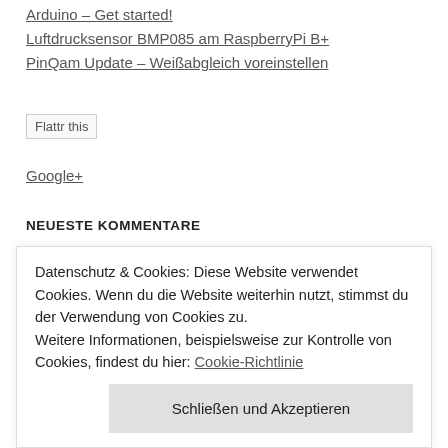Arduino – Get started!
Luftdrucksensor BMP085 am RaspberryPi B+
PinQam Update – Weißabgleich voreinstellen
[Figure (other): Flattr this button/image placeholder]
Google+
NEUESTE KOMMENTARE
Datenschutz & Cookies: Diese Website verwendet Cookies. Wenn du die Website weiterhin nutzt, stimmst du der Verwendung von Cookies zu.
Weitere Informationen, beispielsweise zur Kontrolle von Cookies, findest du hier: Cookie-Richtlinie
Schließen und Akzeptieren